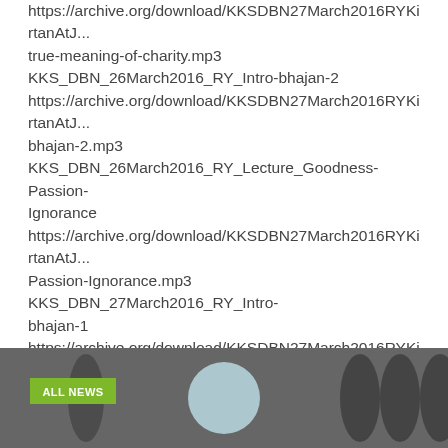https://archive.org/download/KKSDBN27March2016RYKirtanAtJ... true-meaning-of-charity.mp3 KKS_DBN_26March2016_RY_Intro-bhajan-2 https://archive.org/download/KKSDBN27March2016RYKirtanAtJ... bhajan-2.mp3 KKS_DBN_26March2016_RY_Lecture_Goodness-Passion-Ignorance https://archive.org/download/KKSDBN27March2016RYKirtanAtJ... Passion-Ignorance.mp3 KKS_DBN_27March2016_RY_Intro-bhajan-1 https://archive.org/download/KKSDBN27March2016RYKirtanAtJ... bhajan-1.mp3 KKS_DBN_27March2016_RY_Lecture_The-Lords-plan-vs-our-plan https://archive.org/download/KKSDBN27March2016RYKirtanAtJ... Lords-plan-vs-our-plan.mp3...
[Figure (photo): A dark image with an 'ALL NEWS' green badge label on the left and circular dark shapes on the right, with a light circular element in the center.]